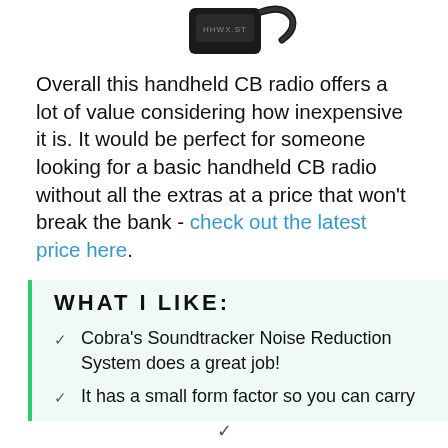[Figure (photo): Photo of a handheld CB radio device (Cobra HHWXST) with a strap, shown against white background, partially cropped at top.]
Overall this handheld CB radio offers a lot of value considering how inexpensive it is. It would be perfect for someone looking for a basic handheld CB radio without all the extras at a price that won't break the bank - check out the latest price here.
WHAT I LIKE:
Cobra's Soundtracker Noise Reduction System does a great job!
It has a small form factor so you can carry